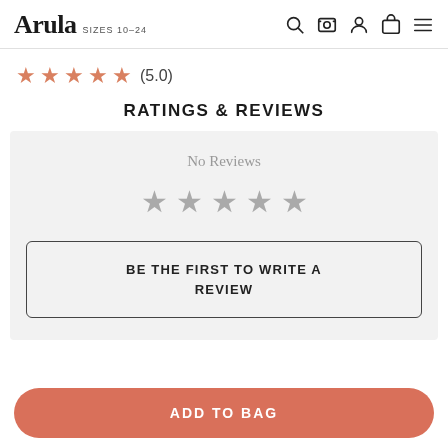Arula SIZES 10-24
★★★★★ (5.0)
RATINGS & REVIEWS
No Reviews
[Figure (other): Five empty/gray star icons indicating no reviews yet]
BE THE FIRST TO WRITE A REVIEW
ADD TO BAG